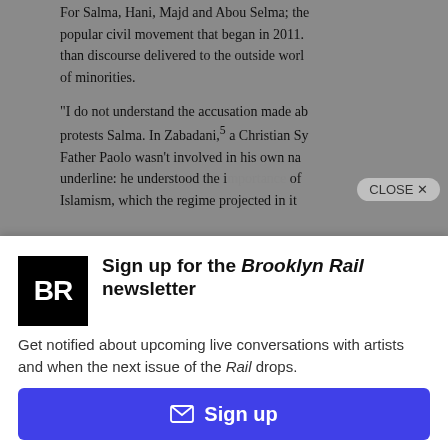For Salma, Hani, Majd and Abou Selma; the popular civil movement that began in 2011. than discourse delivered to the outside world of minorities.
“I do not understand the accusation made about protests Salma. In Zabadani,⁵ a Christian Sy Father Paolo wasn’t involved in his own na underline: he understood the importance of Islamism, which the regime projected in it
[Figure (screenshot): CLOSE X button overlay on article text]
[Figure (logo): Brooklyn Rail BR logo — black square with white BR letters]
Sign up for the Brooklyn Rail newsletter
Get notified about upcoming live conversations with artists and when the next issue of the Rail drops.
✉ Sign up